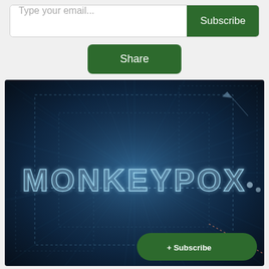[Figure (screenshot): Email subscription bar with text input 'Type your email...' and green Subscribe button]
[Figure (screenshot): Green Share button centered on light gray background]
[Figure (photo): Dark blue digital/tech background image with glowing text 'MONKEYPOX' in the center, dotted lines and tech grid overlay, with a green '+ Subscribe' button overlay in the bottom right corner]